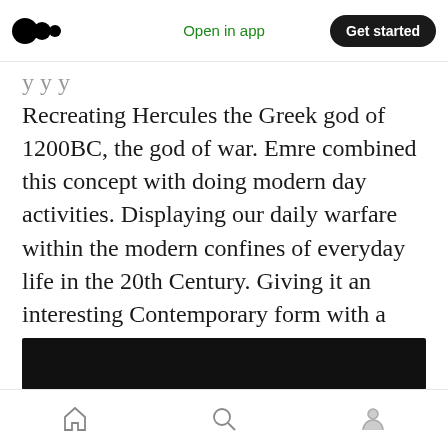Open in app | Get started
Recreating Hercules the Greek god of 1200BC, the god of war. Emre combined this concept with doing modern day activities. Displaying our daily warfare within the modern confines of everyday life in the 20th Century. Giving it an interesting Contemporary form with a Modern day twist.
He marries the Renaissance to Contemporary so well that the blend of the two are unique conversational pieces in any household!
[Figure (photo): Black image bar at the bottom of the article content]
Home | Search | Profile navigation icons